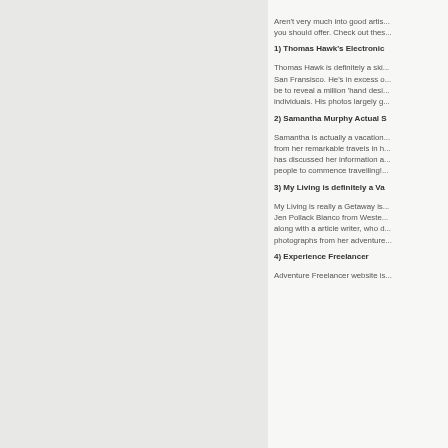Aren't very much into good artis... you should offer. Check out thes...
1) Thomas Hawk's Electronic
Thomas Hawk is definitely a ski... San Fransisco. He's in excess o... be to reveal a million 'hand desi... individuals. His photos largely g...
2) Samantha Murphy Actual S
Samantha is actually a vacation... from her remarkable travels in h... has discussed her information a... people to commence travelling!...
3) My Living is definitely a Va
My Living is really a Getaway is... Jen Pollack Bianco from Weste... along with a article writer, who d... photographs from her adventure...
4) Experience Freelancer
Adventure Freelancer website is...